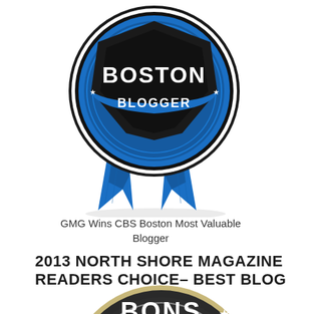[Figure (illustration): CBS Boston Most Valuable Blogger award badge — a blue and black ribbon/medallion with 'BOSTON BLOGGER' text in white on a dark shield shape, with blue award ribbons hanging below.]
GMG Wins CBS Boston Most Valuable Blogger
2013 NORTH SHORE MAGAZINE READERS CHOICE– BEST BLOG
[Figure (illustration): A circular award badge partially visible, dark charcoal color with gold/tan outer ring of serrated edge, text 'BONS' visible at top with a star, '2013' in center, and partial text of 'BEST' visible at right.]